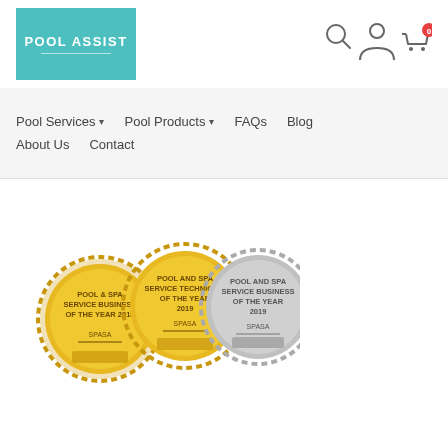[Figure (logo): Pool Assist teal/turquoise logo box with white text POOL ASSIST and horizontal line]
[Figure (illustration): Header icons: search magnifier, user/account person icon, shopping cart with red badge showing 0]
Pool Services ▾   Pool Products ▾   FAQs   Blog   About Us   Contact
[Figure (illustration): Three award medals: gold 'Pool & Spa Service Business of the Year 2018 SPASA', gold 'Pool and Spa Service Technician of the Year 2019 SPASA', silver 'Pool and Spa Service Business of the Year 2019 SPASA']